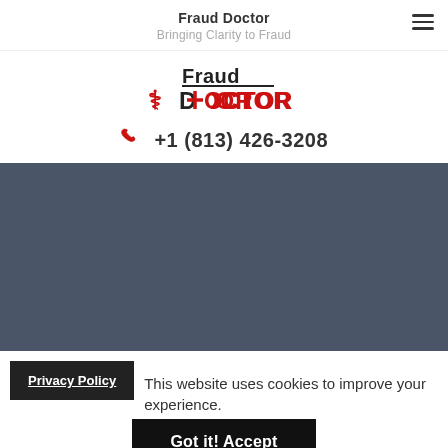Fraud Doctor
Bringing Clarity to Fraud
[Figure (logo): Fraud Doctor logo with 'Fraud' in black bold and 'DOCTOR' in red bold with a stethoscope icon]
+1 (813) 426-3208
[Figure (photo): Dark blue-gray hero image/banner area]
Privacy Policy  This website uses cookies to improve your experience.
Got it! Accept